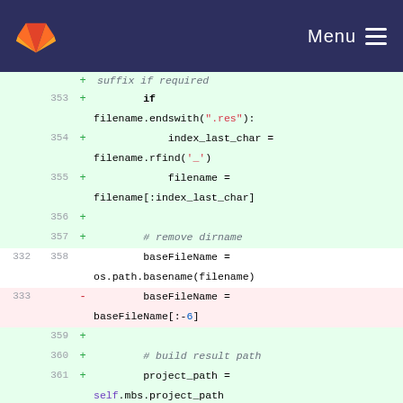Menu
[Figure (screenshot): GitLab code diff view showing Python code changes. Lines 353-362 added (green), line 333 removed (red). Code shows filename suffix handling and path building logic.]